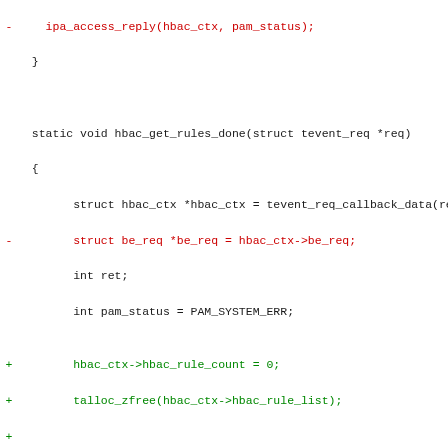Code diff showing hbac_get_rules_done function with removed and added lines in C source code